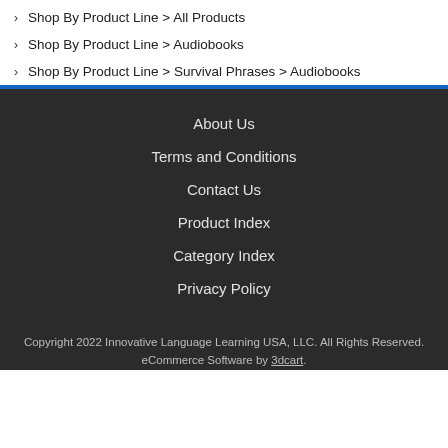Shop By Product Line > All Products
Shop By Product Line > Audiobooks
Shop By Product Line > Survival Phrases > Audiobooks
About Us
Terms and Conditions
Contact Us
Product Index
Category Index
Privacy Policy
Copyright 2022 Innovative Language Learning USA, LLC. All Rights Reserved. eCommerce Software by 3dcart.